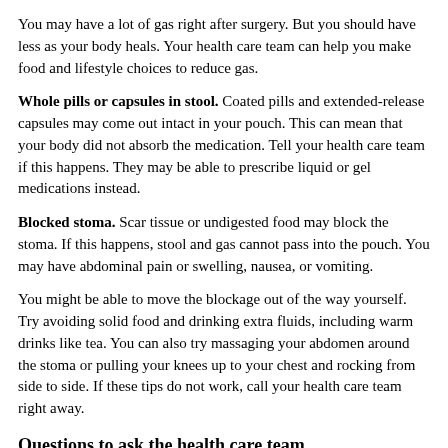You may have a lot of gas right after surgery. But you should have less as your body heals. Your health care team can help you make food and lifestyle choices to reduce gas.
Whole pills or capsules in stool. Coated pills and extended-release capsules may come out intact in your pouch. This can mean that your body did not absorb the medication. Tell your health care team if this happens. They may be able to prescribe liquid or gel medications instead.
Blocked stoma. Scar tissue or undigested food may block the stoma. If this happens, stool and gas cannot pass into the pouch. You may have abdominal pain or swelling, nausea, or vomiting.
You might be able to move the blockage out of the way yourself. Try avoiding solid food and drinking extra fluids, including warm drinks like tea. You can also try massaging your abdomen around the stoma or pulling your knees up to your chest and rocking from side to side. If these tips do not work, call your health care team right away.
Questions to ask the health care team
Can you explain the colostomy surgery?